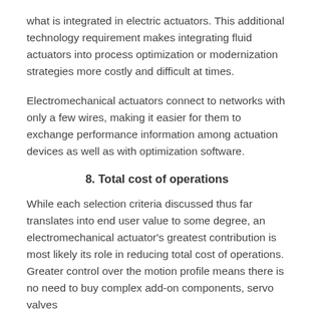what is integrated in electric actuators. This additional technology requirement makes integrating fluid actuators into process optimization or modernization strategies more costly and difficult at times.
Electromechanical actuators connect to networks with only a few wires, making it easier for them to exchange performance information among actuation devices as well as with optimization software.
8. Total cost of operations
While each selection criteria discussed thus far translates into end user value to some degree, an electromechanical actuator's greatest contribution is most likely its role in reducing total cost of operations. Greater control over the motion profile means there is no need to buy complex add-on components, servo valves